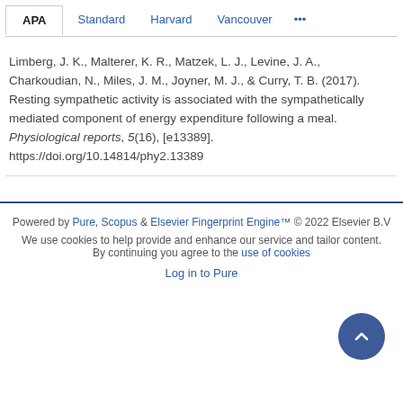APA  Standard  Harvard  Vancouver  ...
Limberg, J. K., Malterer, K. R., Matzek, L. J., Levine, J. A., Charkoudian, N., Miles, J. M., Joyner, M. J., & Curry, T. B. (2017). Resting sympathetic activity is associated with the sympathetically mediated component of energy expenditure following a meal. Physiological reports, 5(16), [e13389]. https://doi.org/10.14814/phy2.13389
Powered by Pure, Scopus & Elsevier Fingerprint Engine™ © 2022 Elsevier B.V
We use cookies to help provide and enhance our service and tailor content. By continuing you agree to the use of cookies
Log in to Pure